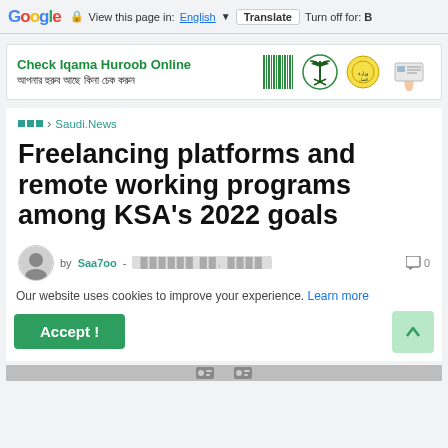Google · View this page in: English · Translate · Turn off for: B
[Figure (infographic): Advertisement banner: Check Iqama Huroob Online with Bengali subtitle text, barcode graphic, Saudi Arabia coat of arms, ministry seal, and hand holding ID card]
🏠 > Saudi.News
Freelancing platforms and remote working programs among KSA's 2022 goals
by Saa7oo - [date] · 0
Our website uses cookies to improve your experience. Learn more
Accept !